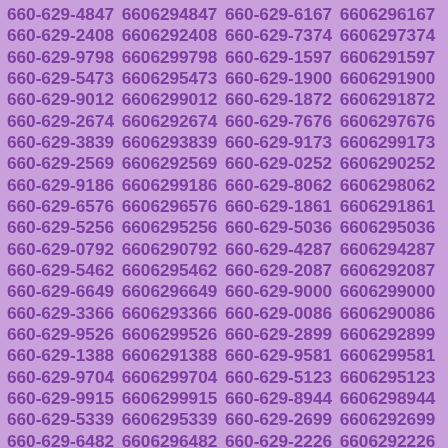660-629-4847 6606294847 660-629-6167 6606296167 660-629-2408 6606292408 660-629-7374 6606297374 660-629-9798 6606299798 660-629-1597 6606291597 660-629-5473 6606295473 660-629-1900 6606291900 660-629-9012 6606299012 660-629-1872 6606291872 660-629-2674 6606292674 660-629-7676 6606297676 660-629-3839 6606293839 660-629-9173 6606299173 660-629-2569 6606292569 660-629-0252 6606290252 660-629-9186 6606299186 660-629-8062 6606298062 660-629-6576 6606296576 660-629-1861 6606291861 660-629-5256 6606295256 660-629-5036 6606295036 660-629-0792 6606290792 660-629-4287 6606294287 660-629-5462 6606295462 660-629-2087 6606292087 660-629-6649 6606296649 660-629-9000 6606299000 660-629-3366 6606293366 660-629-0086 6606290086 660-629-9526 6606299526 660-629-2899 6606292899 660-629-1388 6606291388 660-629-9581 6606299581 660-629-9704 6606299704 660-629-5123 6606295123 660-629-9915 6606299915 660-629-8944 6606298944 660-629-5339 6606295339 660-629-2699 6606292699 660-629-6482 6606296482 660-629-2226 6606292226